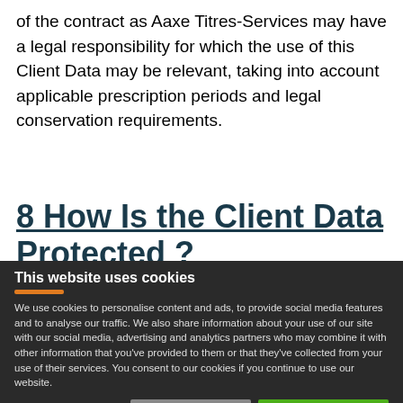of the contract as Aaxe Titres-Services may have a legal responsibility for which the use of this Client Data may be relevant, taking into account applicable prescription periods and legal conservation requirements.
8 How Is the Client Data Protected ?
This website uses cookies
We use cookies to personalise content and ads, to provide social media features and to analyse our traffic. We also share information about your use of our site with our social media, advertising and analytics partners who may combine it with other information that you've provided to them or that they've collected from your use of their services. You consent to our cookies if you continue to use our website.
Allow selection | Allow all cookies | Necessary | Preferences | Statistics | Marketing | Show details